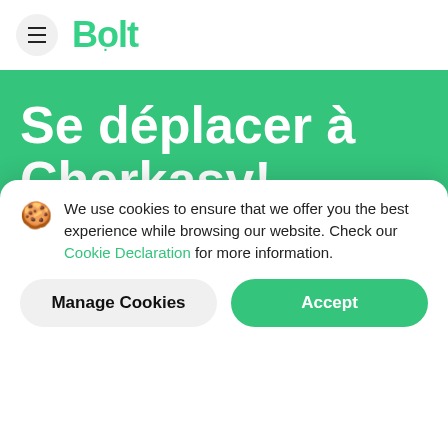Bolt
Se déplacer à Cherkasy!
[Figure (screenshot): App Store download button with Apple icon and 'Télécharger dans' text]
We use cookies to ensure that we offer you the best experience while browsing our website. Check our Cookie Declaration for more information.
Manage Cookies
Accept